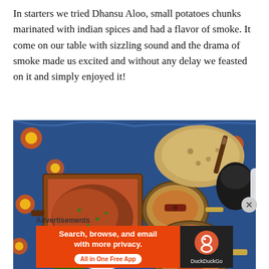In starters we tried Dhansu Aloo, small potatoes chunks marinated with indian spices and had a flavor of smoke. It come on our table with sizzling sound and the drama of smoke made us excited and without any delay we feasted on it and simply enjoyed it!
[Figure (photo): Overhead view of Indian food spread on a colorful floral tablecloth, showing dishes in copper/gold pans including curry, dal, and flatbreads]
Advertisements
[Figure (other): DuckDuckGo advertisement banner: orange background with text 'Search, browse, and email with more privacy. All in One Free App' and DuckDuckGo logo on dark right panel]